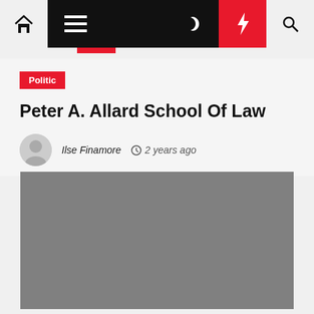Navigation bar with home, menu, moon, bolt, and search icons
Politic
Peter A. Allard School Of Law
Ilse Finamore  2 years ago
[Figure (photo): Gray placeholder image for article]